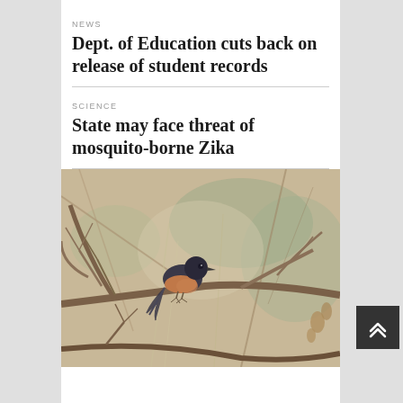NEWS
Dept. of Education cuts back on release of student records
SCIENCE
State may face threat of mosquito-borne Zika
[Figure (photo): A small dark bird with brownish-rust coloring perched among bare winter branches and dry grass stems]